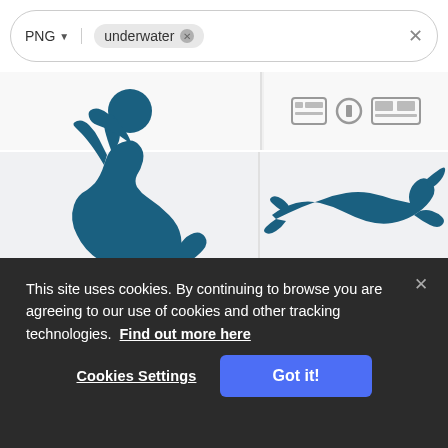[Figure (screenshot): Search bar with PNG filter and 'underwater' chip tag and close X button]
[Figure (screenshot): Image grid showing partial top row with blue circle shape on left and icon placeholders on right]
[Figure (illustration): Blue silhouette of a woman swimming/diving underwater, dynamic pose with legs up]
[Figure (illustration): Blue silhouette of a person swimming horizontally underwater, stretched pose]
This site uses cookies. By continuing to browse you are agreeing to our use of cookies and other tracking technologies. Find out more here
Cookies Settings
Got it!